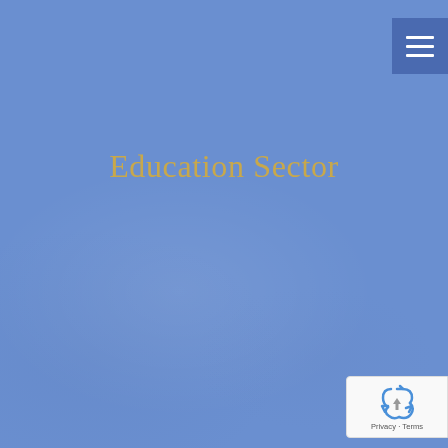[Figure (other): Blue background page with subtle gradient overlays suggesting a background image or color wash]
Education Sector
[Figure (other): Navigation hamburger menu button (three white horizontal lines on dark blue background) in top-right corner]
[Figure (other): reCAPTCHA badge in bottom-right corner showing recycling arrows logo icon and text 'Privacy - Terms']